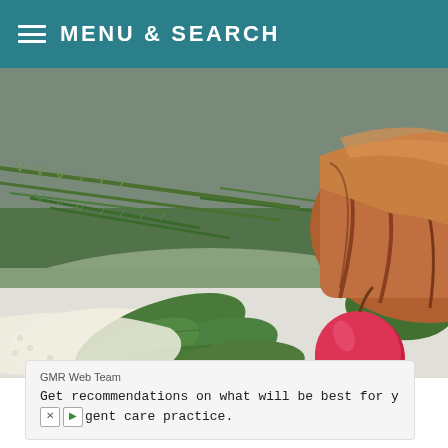MENU & SEARCH
[Figure (photo): Close-up photo of sliced roasted meat on a white plate, garnished with fresh rosemary, sage leaves, and a small red apple/plum, on a gray surface.]
GMR Web Team
Get recommendations on what will be best for y…gent care practice.